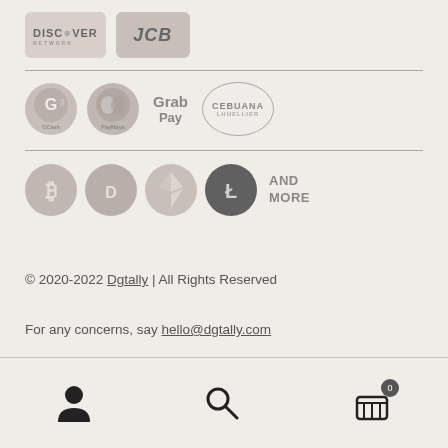[Figure (logo): Discover Network and JCB payment card logos in grayscale]
[Figure (logo): GCash, PayMaya, GrabPay, and Cebuana Lhuillier e-wallet logos in grayscale]
[Figure (logo): Bitcoin, Dash, Ethereum, Litecoin cryptocurrency coin logos in grayscale, with AND MORE text]
© 2020-2022 Dgtally | All Rights Reserved
For any concerns, say hello@dgtally.com
User icon, Search icon, Cart icon with 0 items